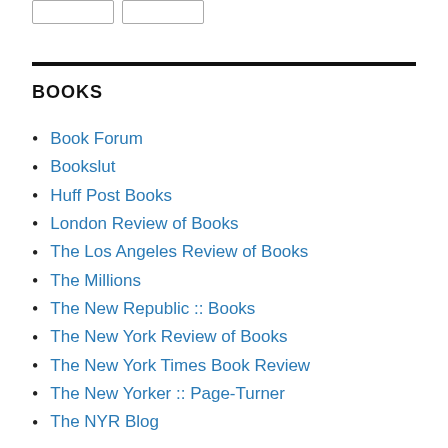BOOKS
Book Forum
Bookslut
Huff Post Books
London Review of Books
The Los Angeles Review of Books
The Millions
The New Republic :: Books
The New York Review of Books
The New York Times Book Review
The New Yorker :: Page-Turner
The NYR Blog